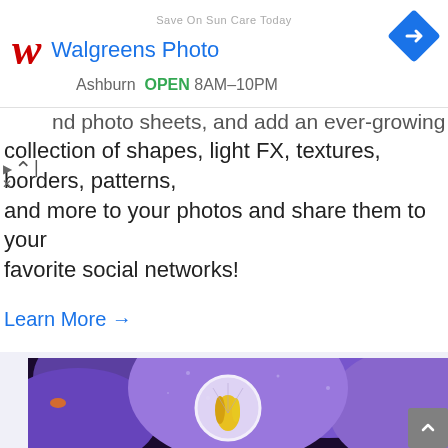[Figure (screenshot): Walgreens Photo advertisement banner with red W logo, blue 'Walgreens Photo' text, navigation diamond icon, and Ashburn OPEN 8AM-10PM location info]
nd photo sheets, and add an ever-growing collection of shapes, light FX, textures, borders, patterns, and more to your photos and share them to your favorite social networks!
Learn More →
[Figure (photo): Close-up photograph of purple crocus flowers with water droplets, featuring a white circle highlighting the yellow stamens in the center]